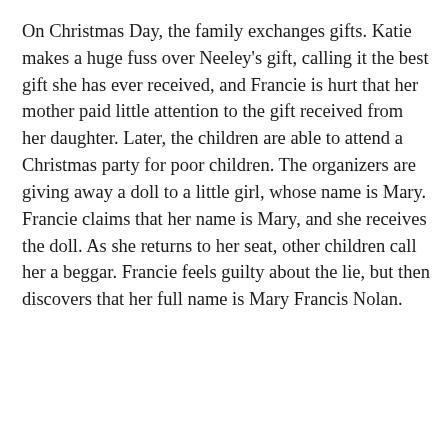On Christmas Day, the family exchanges gifts. Katie makes a huge fuss over Neeley's gift, calling it the best gift she has ever received, and Francie is hurt that her mother paid little attention to the gift received from her daughter. Later, the children are able to attend a Christmas party for poor children. The organizers are giving away a doll to a little girl, whose name is Mary. Francie claims that her name is Mary, and she receives the doll. As she returns to her seat, other children call her a beggar. Francie feels guilty about the lie, but then discovers that her full name is Mary Francis Nolan.